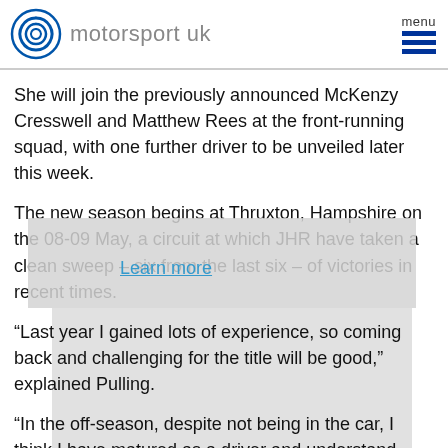motorsport uk
She will join the previously announced McKenzy Cresswell and Matthew Rees at the front-running squad, with one further driver to be unveiled later this week.
The new season begins at Thruxton, Hampshire on the 08-09 May, a circuit at which JHR have taken a clean sweep – six from the last six – of victories in recent times.
“Last year I gained lots of experience, so coming back and challenging for the title will be good,” explained Pulling.
“In the off-season, despite not being in the car, I think I have matured as a driver and understand everything more than I did last year. I feel confident in myself, the team and the people I have around me, such as Gazion